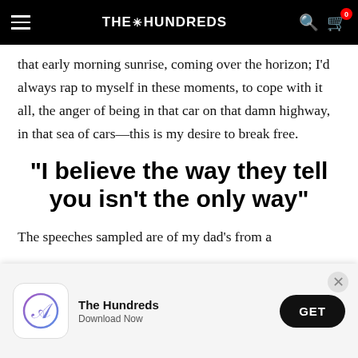THE HUNDREDS
that early morning sunrise, coming over the horizon; I'd always rap to myself in these moments, to cope with it all, the anger of being in that car on that damn highway, in that sea of cars—this is my desire to break free.
“I believe the way they tell you isn’t the only way”
The speeches sampled are of my dad's from a
[Figure (screenshot): App install banner for The Hundreds app with iOS App Store icon, 'The Hundreds' title, 'Download Now' subtitle, GET button, and close (x) button]